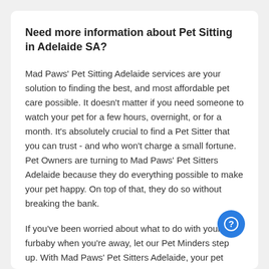Need more information about Pet Sitting in Adelaide SA?
Mad Paws' Pet Sitting Adelaide services are your solution to finding the best, and most affordable pet care possible. It doesn't matter if you need someone to watch your pet for a few hours, overnight, or for a month. It's absolutely crucial to find a Pet Sitter that you can trust - and who won't charge a small fortune. Pet Owners are turning to Mad Paws' Pet Sitters Adelaide because they do everything possible to make your pet happy. On top of that, they do so without breaking the bank.
If you've been worried about what to do with your furbaby when you're away, let our Pet Minders step up. With Mad Paws' Pet Sitters Adelaide, your pet